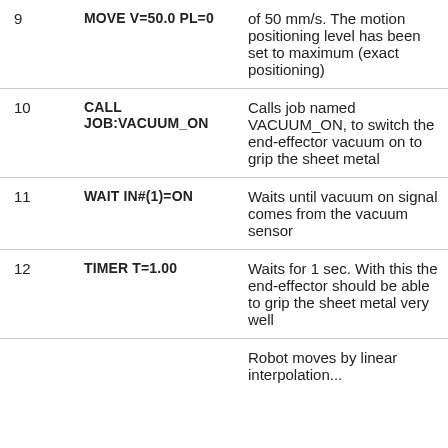| # | Command | Description |
| --- | --- | --- |
| 9 | MOVE V=50.0 PL=0 | of 50 mm/s. The motion positioning level has been set to maximum (exact positioning) |
| 10 | CALL JOB:VACUUM_ON | Calls job named VACUUM_ON, to switch the end-effector vacuum on to grip the sheet metal |
| 11 | WAIT IN#(1)=ON | Waits until vacuum on signal comes from the vacuum sensor |
| 12 | TIMER T=1.00 | Waits for 1 sec. With this the end-effector should be able to grip the sheet metal very well |
|  |  | Robot moves by linear interpolation... |